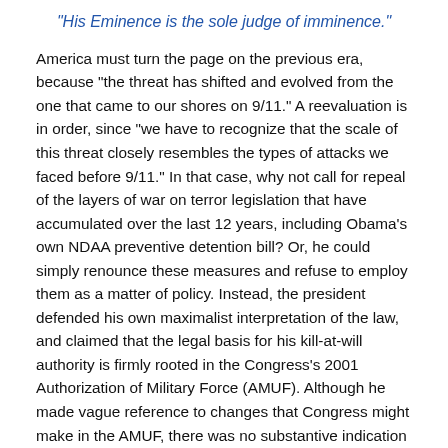“His Eminence is the sole judge of imminence.”
America must turn the page on the previous era, because “the threat has shifted and evolved from the one that came to our shores on 9/11.” A reevaluation is in order, since “we have to recognize that the scale of this threat closely resembles the types of attacks we faced before 9/11.” In that case, why not call for repeal of the layers of war on terror legislation that have accumulated over the last 12 years, including Obama’s own NDAA preventive detention bill? Or, he could simply renounce these measures and refuse to employ them as a matter of policy. Instead, the president defended his own maximalist interpretation of the law, and claimed that the legal basis for his kill-at-will authority is firmly rooted in the Congress’s 2001 Authorization of Military Force (AMUF). Although he made vague reference to changes that Congress might make in the AMUF, there was no substantive indication that he sought to impose restrictions on his own or any other president's authority to wage war precisely as he has for the last four years.